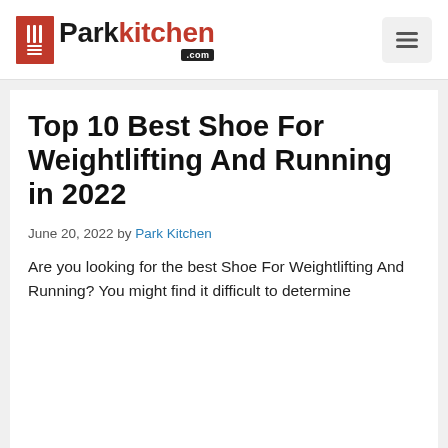Parkkitchen.com
Top 10 Best Shoe For Weightlifting And Running in 2022
June 20, 2022 by Park Kitchen
Are you looking for the best Shoe For Weightlifting And Running? You might find it difficult to determine